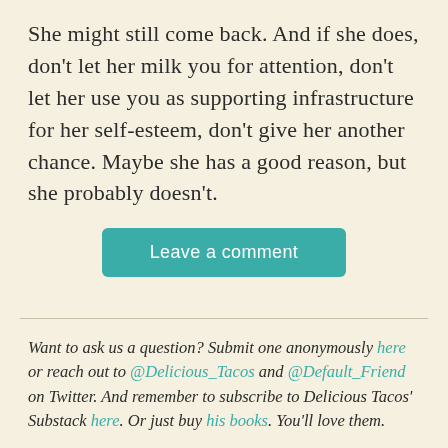She might still come back. And if she does, don't let her milk you for attention, don't let her use you as supporting infrastructure for her self-esteem, don't give her another chance. Maybe she has a good reason, but she probably doesn't.
[Figure (other): Teal rounded rectangle button labeled 'Leave a comment']
Want to ask us a question? Submit one anonymously here or reach out to @Delicious_Tacos and @Default_Friend on Twitter. And remember to subscribe to Delicious Tacos' Substack here. Or just buy his books. You'll love them.